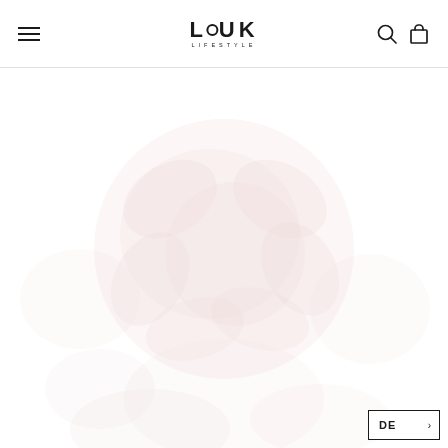LUUK LIFESTYLE — navigation header with hamburger menu, logo, search and cart icons
[Figure (photo): Very faint, washed-out lifestyle product photo — appears to show a floral or round organic shape in light pink/rose tones against white background, nearly invisible]
DE